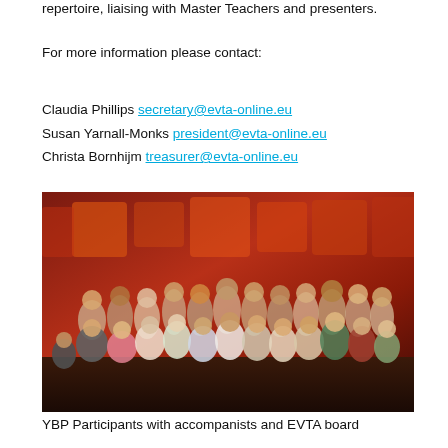repertoire, liaising with Master Teachers and presenters.
For more information please contact:
Claudia Phillips secretary@evta-online.eu
Susan Yarnall-Monks president@evta-online.eu
Christa Bornhijm treasurer@evta-online.eu
[Figure (photo): Group photo of YBP Participants with accompanists and EVTA board members on a stage with warm orange/red lighting]
YBP Participants with accompanists and EVTA board